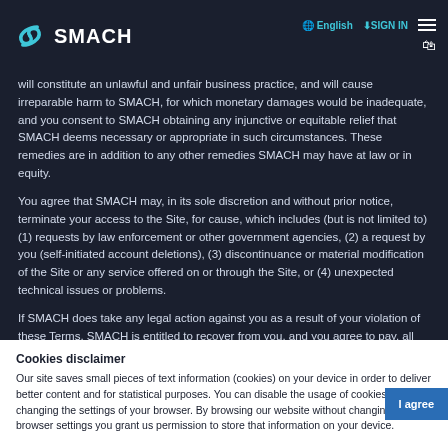SMACH | English | SIGN IN
will constitute an unlawful and unfair business practice, and will cause irreparable harm to SMACH, for which monetary damages would be inadequate, and you consent to SMACH obtaining any injunctive or equitable relief that SMACH deems necessary or appropriate in such circumstances. These remedies are in addition to any other remedies SMACH may have at law or in equity.
You agree that SMACH may, in its sole discretion and without prior notice, terminate your access to the Site, for cause, which includes (but is not limited to) (1) requests by law enforcement or other government agencies, (2) a request by you (self-initiated account deletions), (3) discontinuance or material modification of the Site or any service offered on or through the Site, or (4) unexpected technical issues or problems.
If SMACH does take any legal action against you as a result of your violation of these Terms, SMACH is entitled to recover from you, and you agree to pay, all reasonable attorney's fees and costs of such action, in addition to any other relief granted to SMACH. You agree that SMACH will not be liable to you or to any third party for termination of your access to the Site as a result of any violation of these Terms of Use.
Cookies disclaimer
Our site saves small pieces of text information (cookies) on your device in order to deliver better content and for statistical purposes. You can disable the usage of cookies by changing the settings of your browser. By browsing our website without changing the browser settings you grant us permission to store that information on your device.